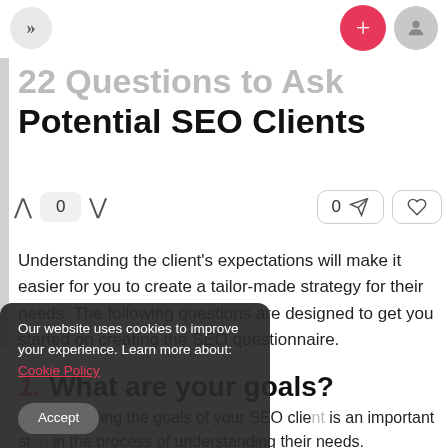»  +  [user icon]
22 Questions to Ask Potential SEO Clients
0  0
Understanding the client's expectations will make it easier for you to create a tailor-made strategy for their needs. The following questions are designed to get you started on creating the SEO questionnaire.
1. What are your goals?
Understanding the goals of your SEO client is an important step in the process of understanding their needs. Understanding what your clients are trying to achieve will help you tailor your SEO strategy. This will
Our website uses cookies to improve your experience. Learn more about: Cookie Policy
Accept